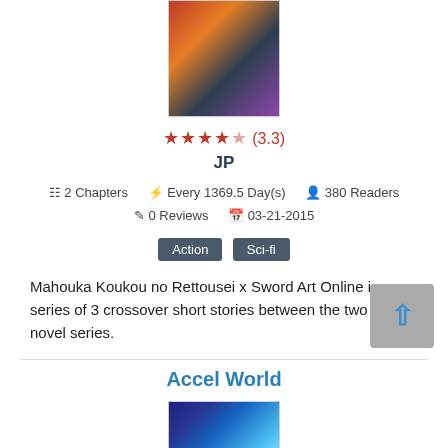[Figure (photo): Manga cover image for Mahouka Koukou no Rettousei x Sword Art Online, colorful Japanese light novel cover]
★★★★☆ (3.3)
JP
2 Chapters  Every 1369.5 Day(s)  380 Readers  0 Reviews  03-21-2015
Action  Sci-fi
Mahouka Koukou no Rettousei x Sword Art Online is a series of 3 crossover short stories between the two light novel series.
Accel World
[Figure (photo): Manga/anime cover image for Accel World, showing anime characters with blue glowing swords on a dark blue background]